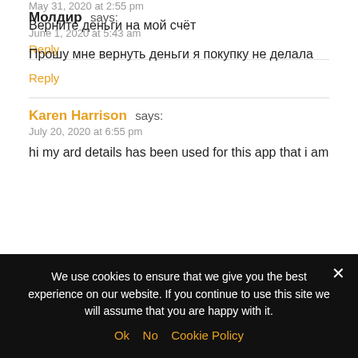May 31, 2020 at 2:55 pm
Верните деньги на мой счёт
Reply
Молдир says:
June 1, 2020 at 5:43 am
Прошу мне вернуть деньги я покупку не делала
Reply
Karen Harrison says:
July 20, 2020 at 6:55 pm
hi my ard details has been used for this app that i am
We use cookies to ensure that we give you the best experience on our website. If you continue to use this site we will assume that you are happy with it.
Ok  No  Cookie Policy